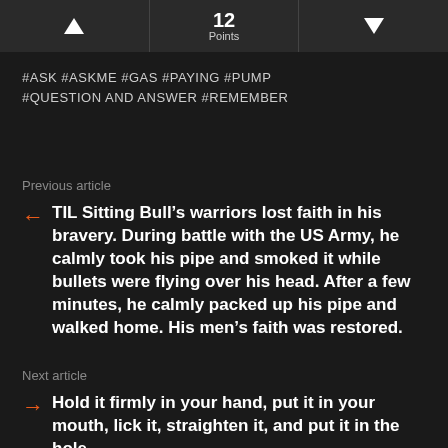12 Points
#ASK #ASKME #GAS #PAYING #PUMP #QUESTION AND ANSWER #REMEMBER
Previous article
TIL Sitting Bull’s warriors lost faith in his bravery. During battle with the US Army, he calmly took his pipe and smoked it while bullets were flying over his head. After a few minutes, he calmly packed up his pipe and walked home. His men’s faith was restored.
Next article
Hold it firmly in your hand, put it in your mouth, lick it, straighten it, and put it in the hole